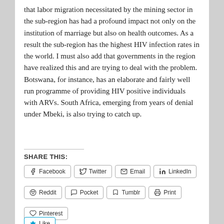that labor migration necessitated by the mining sector in the sub-region has had a profound impact not only on the institution of marriage but also on health outcomes. As a result the sub-region has the highest HIV infection rates in the world. I must also add that governments in the region have realized this and are trying to deal with the problem. Botswana, for instance, has an elaborate and fairly well run programme of providing HIV positive individuals with ARVs. South Africa, emerging from years of denial under Mbeki, is also trying to catch up.
SHARE THIS:
Facebook | Twitter | Email | LinkedIn | Reddit | Pocket | Tumblr | Print | Pinterest | Like